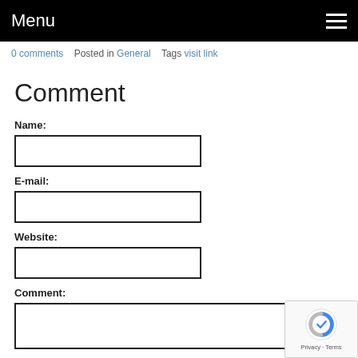Menu
0 comments   Posted in General   Tags visit link
Comment
Name:
E-mail:
Website:
Comment: